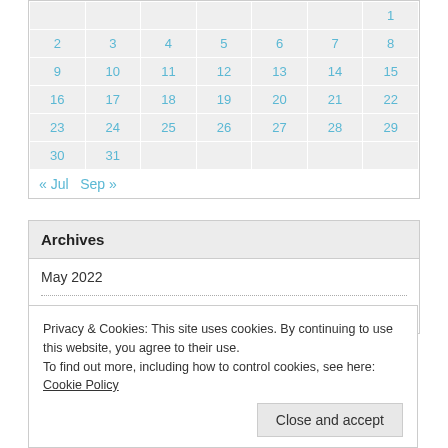| Sun | Mon | Tue | Wed | Thu | Fri | Sat |
| --- | --- | --- | --- | --- | --- | --- |
|  |  |  |  |  |  | 1 |
| 2 | 3 | 4 | 5 | 6 | 7 | 8 |
| 9 | 10 | 11 | 12 | 13 | 14 | 15 |
| 16 | 17 | 18 | 19 | 20 | 21 | 22 |
| 23 | 24 | 25 | 26 | 27 | 28 | 29 |
| 30 | 31 |  |  |  |  |  |
« Jul   Sep »
Archives
May 2022
July 2020
Privacy & Cookies: This site uses cookies. By continuing to use this website, you agree to their use. To find out more, including how to control cookies, see here: Cookie Policy
Close and accept